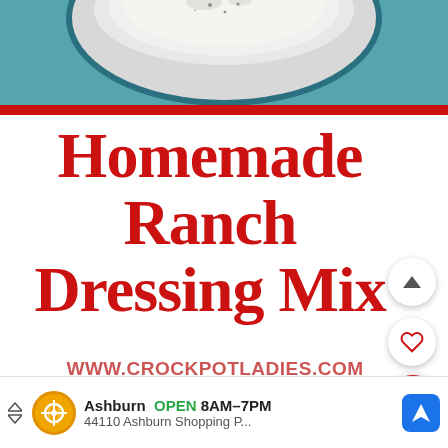[Figure (photo): Top portion of a bowl of ranch dressing on a blue floral fabric background, with a red bar at the bottom of the photo.]
Homemade Ranch Dressing Mix
WWW.CROCKPOTLADIES.COM
[Figure (screenshot): Advertisement banner: Ashburn OPEN 8AM-7PM, 44110 Ashburn Shopping P... with a Google Maps style navigation icon.]